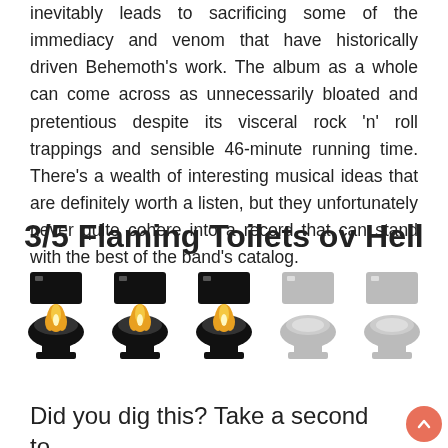inevitably leads to sacrificing some of the immediacy and venom that have historically driven Behemoth's work. The album as a whole can come across as unnecessarily bloated and pretentious despite its visceral rock 'n' roll trappings and sensible 46-minute running time. There's a wealth of interesting musical ideas that are definitely worth a listen, but they unfortunately never quite cohere into a record that can stand with the best of the band's catalog.
3/5 Flaming Toilets ov Hell
[Figure (illustration): Five flaming toilet icons: three colored black with orange flames (active/filled rating), two colored gray (inactive/empty rating), representing a 3 out of 5 rating.]
Did you dig this? Take a second to